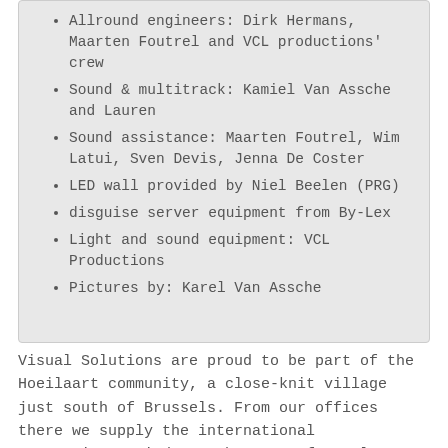Allround engineers: Dirk Hermans, Maarten Foutrel and VCL productions' crew
Sound & multitrack: Kamiel Van Assche and Lauren
Sound assistance: Maarten Foutrel, Wim Latui, Sven Devis, Jenna De Coster
LED wall provided by Niel Beelen (PRG)
disguise server equipment from By-Lex
Light and sound equipment: VCL Productions
Pictures by: Karel Van Assche
Visual Solutions are proud to be part of the Hoeilaart community, a close-knit village just south of Brussels. From our offices there we supply the international entertainment industry but one of our latest projects